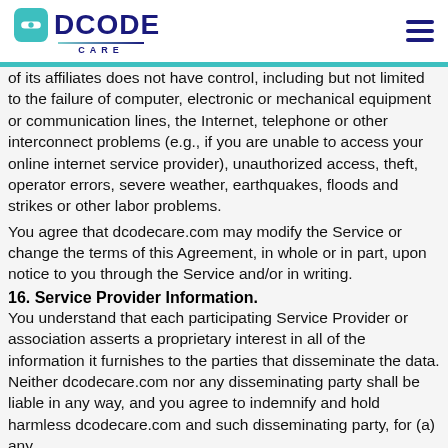DCODE CARE
of its affiliates does not have control, including but not limited to the failure of computer, electronic or mechanical equipment or communication lines, the Internet, telephone or other interconnect problems (e.g., if you are unable to access your online internet service provider), unauthorized access, theft, operator errors, severe weather, earthquakes, floods and strikes or other labor problems.
You agree that dcodecare.com may modify the Service or change the terms of this Agreement, in whole or in part, upon notice to you through the Service and/or in writing.
16. Service Provider Information.
You understand that each participating Service Provider or association asserts a proprietary interest in all of the information it furnishes to the parties that disseminate the data. Neither dcodecare.com nor any disseminating party shall be liable in any way, and you agree to indemnify and hold harmless dcodecare.com and such disseminating party, for (a) any